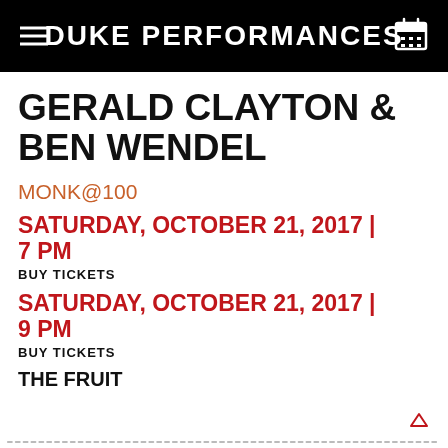DUKE PERFORMANCES
GERALD CLAYTON & BEN WENDEL
MONK@100
SATURDAY, OCTOBER 21, 2017 | 7 PM
BUY TICKETS
SATURDAY, OCTOBER 21, 2017 | 9 PM
BUY TICKETS
THE FRUIT